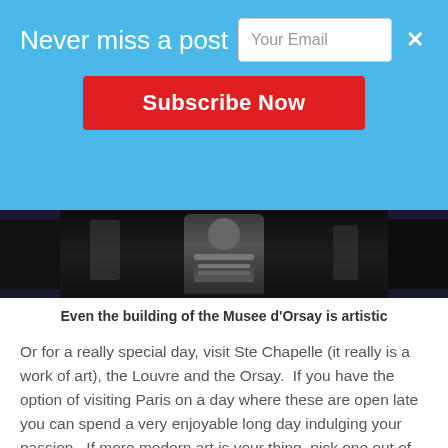[Figure (screenshot): Email subscription banner overlay with blue background, text 'Never miss a post', email input field with placeholder 'Your Email', close button 'x', and red 'Subscribe Now' button]
[Figure (photo): Dark photo showing what appears to be a figure or statue in the Musee d'Orsay building]
Even the building of the Musee d'Orsay is artistic
Or for a really special day, visit Ste Chapelle (it really is a work of art), the Louvre and the Orsay.  If you have the option of visiting Paris on a day where these are open late you can spend a very enjoyable long day indulging your passion.  If more modern art is your thing, pick one out of the Orsay and the Louvre, and then spend the rest of your day at the Pompidou Centre (not far from the Louvre, so works best if you pass on the Orsay).